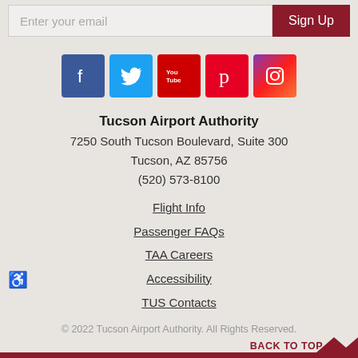[Figure (screenshot): Email signup bar with input field 'Enter your email' and 'Sign Up' button in dark red]
[Figure (infographic): Social media icons row: Facebook (blue), Twitter (light blue), YouTube (red), Pinterest (red), Instagram (gradient pink/purple)]
Tucson Airport Authority
7250 South Tucson Boulevard, Suite 300
Tucson, AZ 85756
(520) 573-8100
Flight Info
Passenger FAQs
TAA Careers
Accessibility
TUS Contacts
© 2022 Tucson Airport Authority. All Rights Reserved.
BACK TO TOP